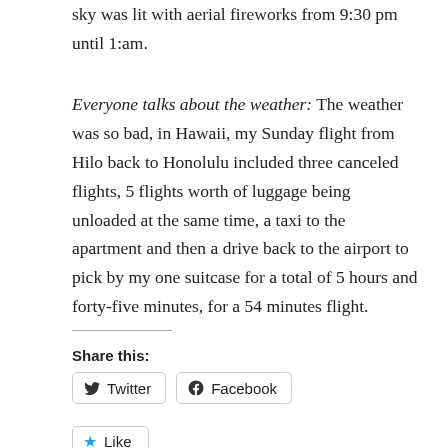sky was lit with aerial fireworks from 9:30 pm until 1:am.
Everyone talks about the weather: The weather was so bad, in Hawaii, my Sunday flight from Hilo back to Honolulu included three canceled flights, 5 flights worth of luggage being unloaded at the same time, a taxi to the apartment and then a drive back to the airport to pick by my one suitcase for a total of 5 hours and forty-five minutes, for a 54 minutes flight.
Share this:
Twitter  Facebook
Like
Be the first to like this.